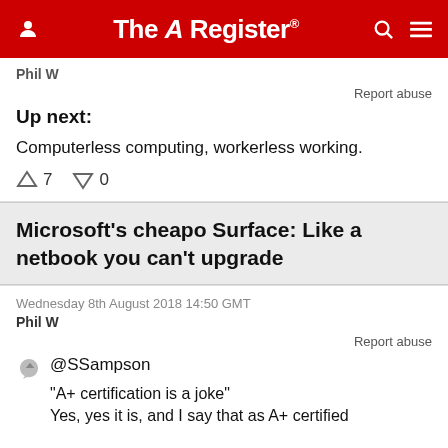The Register
Phil W
Report abuse
Up next:
Computerless computing, workerless working.
↑7  ↓0
Microsoft's cheapo Surface: Like a netbook you can't upgrade
Wednesday 8th August 2018 14:50 GMT
Phil W
Report abuse
@SSampson
"A+ certification is a joke"
Yes, yes it is, and I say that as A+ certified